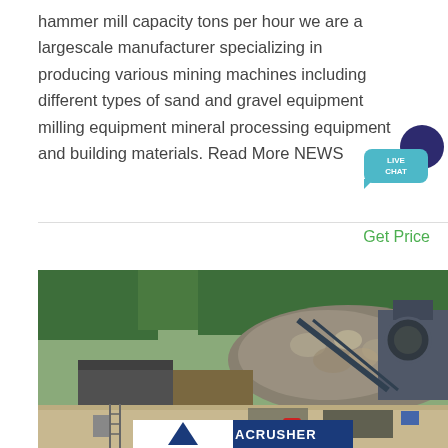hammer mill capacity tons per hour we are a largescale manufacturer specializing in producing various mining machines including different types of sand and gravel equipment milling equipment mineral processing equipment and building materials. Read More NEWS
Get Price
[Figure (photo): Outdoor mining/quarry site with heavy machinery, stone crusher equipment, large pile of rocks, conveyor belts, and construction materials on gravel ground. Trees visible in background. Acrusher watermark/logo at bottom.]